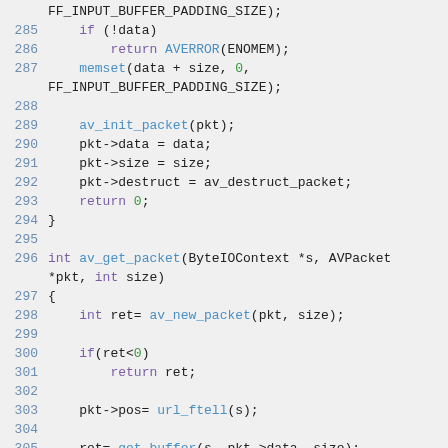[Figure (screenshot): C source code snippet showing lines 285-306 of a multimedia library (FFmpeg-style), including av_new_packet, av_get_packet, and related buffer handling functions. Syntax highlighted with line numbers in blue, keywords in purple, function names in cyan/blue, and numeric literals in green.]